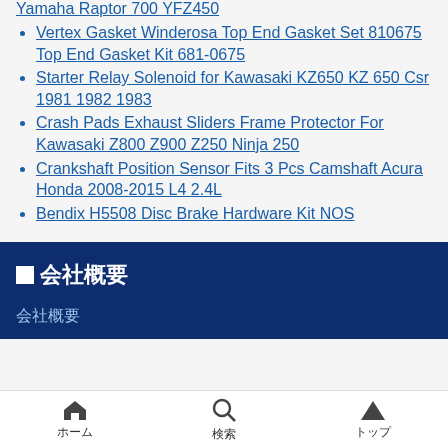Yamaha Raptor 700 YFZ450
Vertex Gasket Winderosa Top End Gasket Set 810675 Top End Gasket Kit 681-0675
Starter Relay Solenoid for Kawasaki KZ650 KZ 650 Csr 1981 1982 1983
Crash Pads Exhaust Sliders Frame Protector For Kawasaki Z800 Z900 Z250 Ninja 250
Crankshaft Position Sensor Fits 3 Pcs Camshaft Acura Honda 2008-2015 L4 2.4L
Bendix H5508 Disc Brake Hardware Kit NOS
■会社概要
会社概要
ホーム　検索　トップ